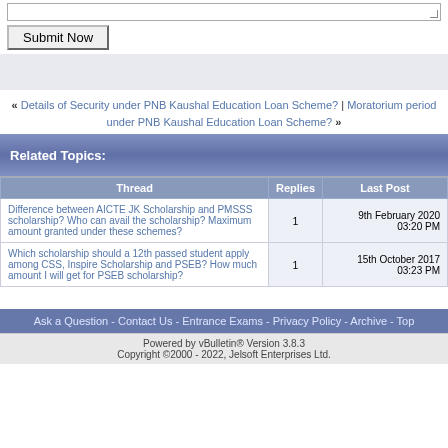[Figure (screenshot): Text area input box (top of form)]
Submit Now
[Figure (other): Advertisement banner area]
« Details of Security under PNB Kaushal Education Loan Scheme? | Moratorium period under PNB Kaushal Education Loan Scheme? »
Related Topics:
| Thread | Replies | Last Post |
| --- | --- | --- |
| Difference between AICTE JK Scholarship and PMSSS scholarship? Who can avail the scholarship? Maximum amount granted under these schemes? | 1 | 9th February 2020 03:20 PM |
| Which scholarship should a 12th passed student apply among CSS, Inspire Scholarship and PSEB? How much amount I will get for PSEB scholarship? | 1 | 15th October 2017 03:23 PM |
Ask a Question - Contact Us - Entrance Exams - Privacy Policy - Archive - Top
Powered by vBulletin® Version 3.8.3 Copyright ©2000 - 2022, Jelsoft Enterprises Ltd.